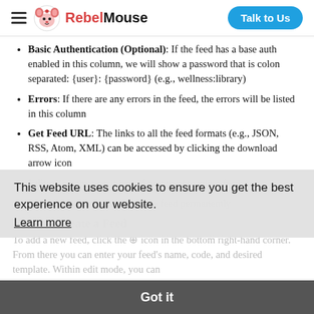RebelMouse — Talk to Us
Basic Authentication (Optional): If the feed has a base auth enabled in this column, we will show a password that is colon separated: {user}:{password} (e.g., wellness:library)
Errors: If there are any errors in the feed, the errors will be listed in this column
Get Feed URL: The links to all the feed formats (e.g., JSON, RSS, Atom, XML) can be accessed by clicking the download arrow icon
Edit: Click the pencil icon if you need to edit a feed
Delete: Allows you to remove a feed permanently
This website uses cookies to ensure you get the best experience on our website.
Learn more
How to: Create a Feed
To add a new feed, click the ⊕ icon in the bottom right-hand corner. From there you can enter your feed's name, code, and desired template. Within edit mode, you can
Got it